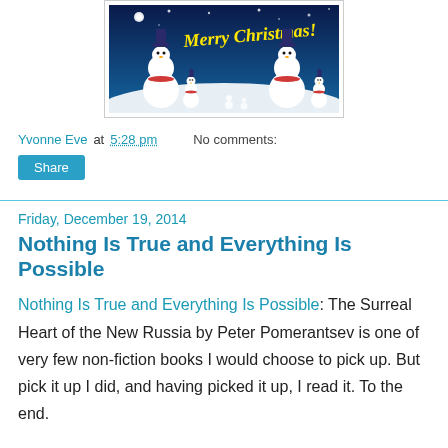[Figure (illustration): Merry Christmas greeting image with snowmen wearing hats and scarves on a blue snowy night background with 'Merry Christmas!' in yellow script text]
Yvonne Eve at 5:28 pm    No comments:
Share
Friday, December 19, 2014
Nothing Is True and Everything Is Possible
Nothing Is True and Everything Is Possible: The Surreal Heart of the New Russia by Peter Pomerantsev is one of very few non-fiction books I would choose to pick up. But pick it up I did, and having picked it up, I read it. To the end.